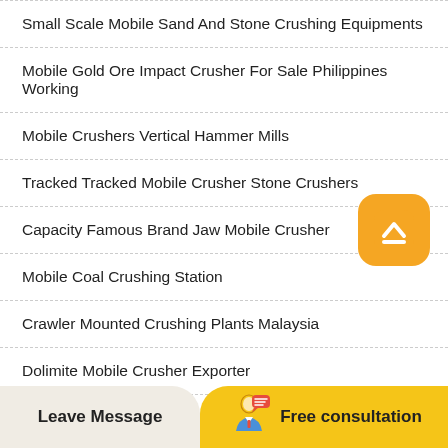Small Scale Mobile Sand And Stone Crushing Equipments
Mobile Gold Ore Impact Crusher For Sale Philippines Working
Mobile Crushers Vertical Hammer Mills
Tracked Tracked Mobile Crusher Stone Crushers
Capacity Famous Brand Jaw Mobile Crusher
Mobile Coal Crushing Station
Crawler Mounted Crushing Plants Malaysia
Dolimite Mobile Crusher Exporter
Leave Message   Free consultation